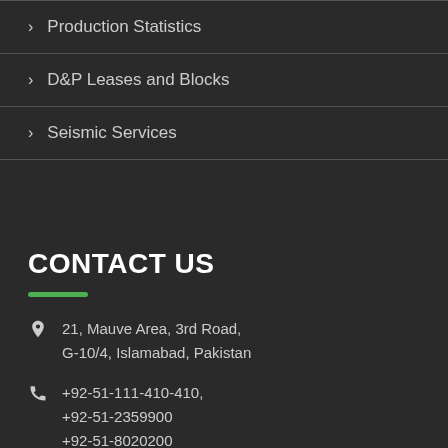Production Statistics
D&P Leases and Blocks
Seismic Services
CONTACT US
21, Mauve Area, 3rd Road, G-10/4, Islamabad, Pakistan
+92-51-111-410-410, +92-51-2359900 +92-51-8020200
+92-51-2352859